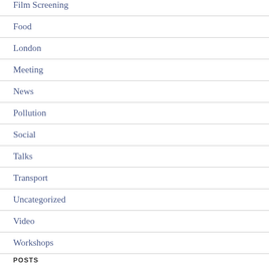Film Screening
Food
London
Meeting
News
Pollution
Social
Talks
Transport
Uncategorized
Video
Workshops
POSTS